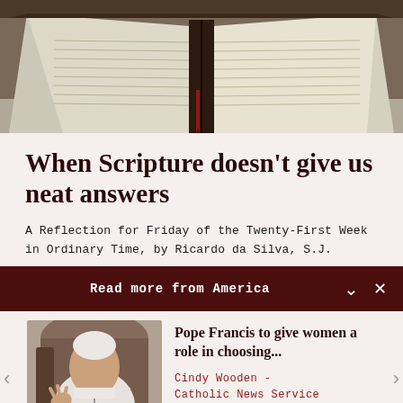[Figure (photo): Open Bible book photographed from above, showing two pages spread open with text, dark spine visible in the center, lying on a surface.]
When Scripture doesn't give us neat answers
A Reflection for Friday of the Twenty-First Week in Ordinary Time, by Ricardo da Silva, S.J.
Read more from America
[Figure (photo): Pope Francis seated, wearing white papal vestments and zucchetto, gesturing with his right hand while speaking.]
Pope Francis to give women a role in choosing...
Cindy Wooden - Catholic News Service